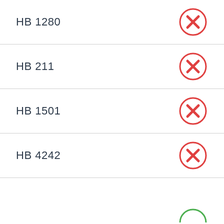HB 1280
HB 211
HB 1501
HB 4242
(partial)